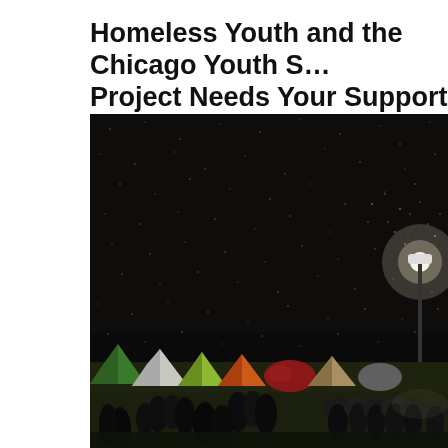Homeless Youth and the Chicago Youth S… Project Needs Your Support
Posted on December 26, 2015 by Laura Newman
[Figure (photo): Night-time photo of a group of people with tents in a field under a glowing street lamp in heavy snow or rain. People are standing/gathered outdoors, silhouetted against the dark sky with tents visible behind them.]